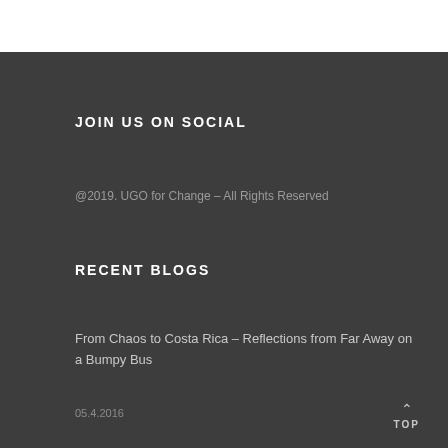JOIN US ON SOCIAL
@2019. UGO for Change – All Rights Reserved
RECENT BLOGS
From Chaos to Costa Rica – Reflections from Far Away on a Bumpy Bus
05.4.2016
TOP